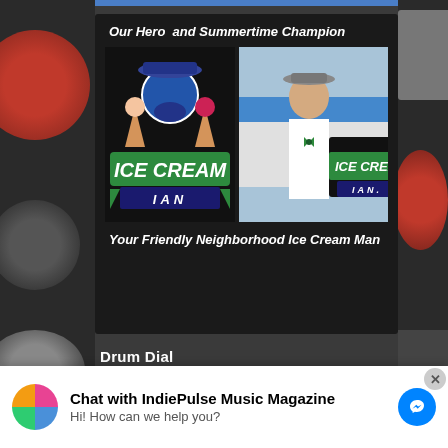[Figure (illustration): Ice Cream Ian advertisement with logo and photo. Header text: 'Our Hero and Summertime Champion'. Shows Ice Cream Ian logo (cartoon ice cream man with beard) on left and a photo of a man in white shirt with bow tie next to the logo on right. Footer text: 'Your Friendly Neighborhood Ice Cream Man']
Drum Dial
[Figure (logo): DrumDial™ logo in large bold black text on white background, with subtitle 'Precision Drum Tuners' in smaller spaced letters below]
Chat with IndiePulse Music Magazine
Hi! How can we help you?